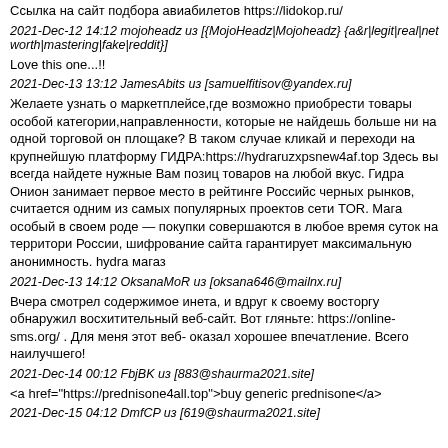Ссылка на сайт подбора авиабилетов https://lidokop.ru/
2021-Dec-12 14:12 mojoheadz из [{MojoHeadz|Mojoheadz} {a&r|legit|real|net worth|mastering|fake|reddit}]
Love this one...!!
2021-Dec-13 13:12 JamesAbits из [samuelfitisov@yandex.ru]
Желаете узнать о маркетплейсе,где возможно приобрести товары особой категории,направленности, которые не найдешь больше ни на одной торговой он площаке? В таком случае кликай и переходи на крупнейшую платформу ГИДРА:https://hydraruzxpsnew4af.top Здесь вы всегда найдете нужные Вам позиц товаров на любой вкус. Гидра Онион занимает первое место в рейтинге Российс черных рынков, считается одним из самых популярных проектов сети TOR. Мага особый в своем роде — покупки совершаются в любое время суток на территори России, шифрование сайта гарантирует максимальную анонимность. hydra магаз
2021-Dec-13 14:12 OksanaMoR из [oksana646@mailnx.ru]
Вчера смотрел содержимое инета, и вдруг к своему восторгу обнаружил восхитительный веб-сайт. Вот гляньте: https://online-sms.org/ . Для меня этот веб- оказал хорошее впечатление. Всего наилучшего!
2021-Dec-14 00:12 FbjBK из [883@shaurma2021.site]
<a href="https://prednisone4all.top">buy generic prednisone</a>
2021-Dec-15 04:12 DmfCP из [619@shaurma2021.site]